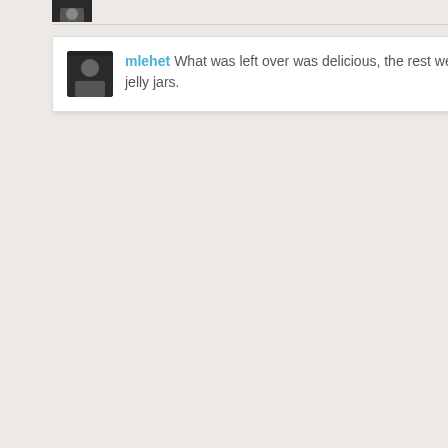[Figure (photo): Small avatar thumbnail in upper left area, partially cropped]
[Figure (photo): Small avatar thumbnail in upper right area, partially cropped, two people]
mlehet What was left over was delicious, the rest went into 12 4-oz jelly jars.